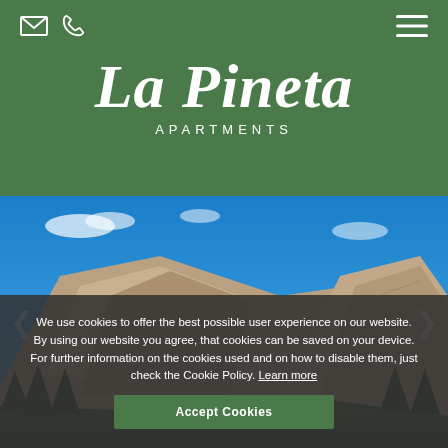La Pineta Apartments — navigation header with email and phone icons and hamburger menu
La Pineta
APARTMENTS
[Figure (photo): Mountain landscape photo showing rocky Dolomite peaks against a bright blue sky with sparse clouds, with forested hillside in the foreground]
We use cookies to offer the best possible user experience on our website. By using our website you agree, that cookies can be saved on your device. For further information on the cookies used and on how to disable them, just check the Cookie Policy. Learn more
Accept Cookies